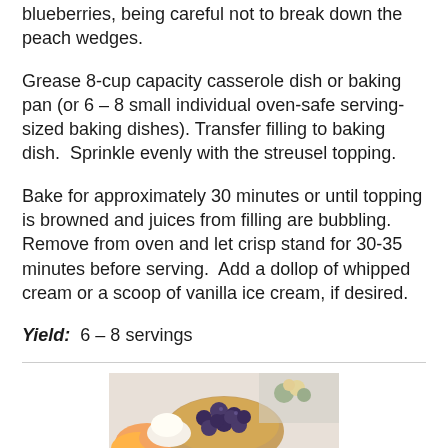blueberries, being careful not to break down the peach wedges.
Grease 8-cup capacity casserole dish or baking pan (or 6 – 8 small individual oven-safe serving-sized baking dishes). Transfer filling to baking dish.  Sprinkle evenly with the streusel topping.
Bake for approximately 30 minutes or until topping is browned and juices from filling are bubbling.  Remove from oven and let crisp stand for 30-35 minutes before serving.  Add a dollop of whipped cream or a scoop of vanilla ice cream, if desired.
Yield:  6 – 8 servings
[Figure (photo): A bowl of fresh blueberries alongside peach slices and what appears to be vanilla ice cream or whipped cream, with flowers in the background.]